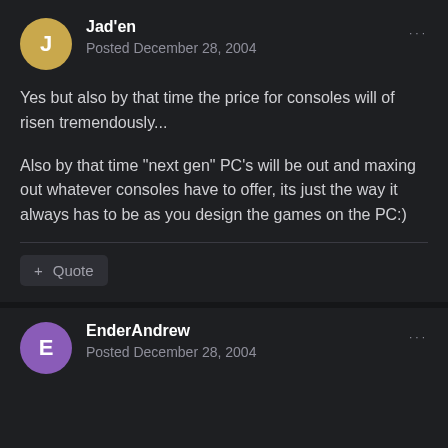Jad'en — Posted December 28, 2004
Yes but also by that time the price for consoles will of risen tremendously...
Also by that time "next gen" PC's will be out and maxing out whatever consoles have to offer, its just the way it always has to be as you design the games on the PC:)
+ Quote
EnderAndrew — Posted December 28, 2004